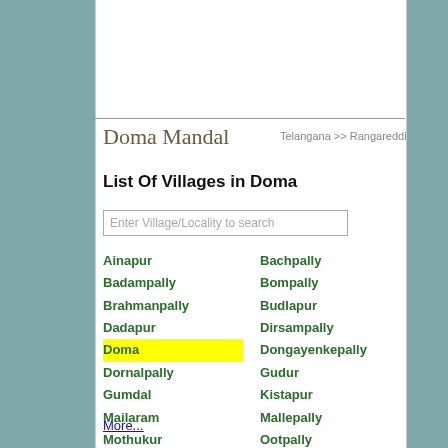Doma Mandal
Telangana >> Rangareddi
List Of Villages in Doma
Enter Village/Locality to search
Ainapur
Bachpally
Badampally
Bompally
Brahmanpally
Budlapur
Dadapur
Dirsampally
Doma
Dongayenkepally
Dornalpally
Gudur
Gumdal
Kistapur
Mailaram
Mallepally
Mothukur
Ootpally
Palepally
Rakonda
Sivareddypally
More...